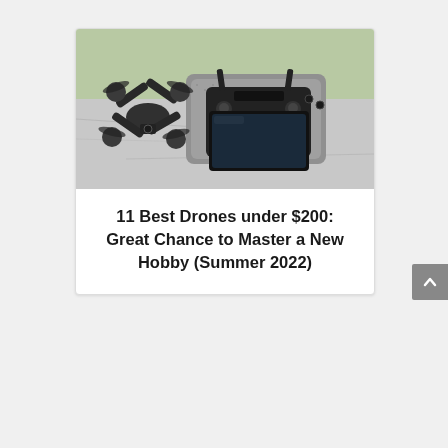[Figure (photo): A folded drone (quadcopter) on the left and a drone remote controller with a smartphone attached on the right, placed on a granite surface outdoors.]
11 Best Drones under $200: Great Chance to Master a New Hobby (Summer 2022)